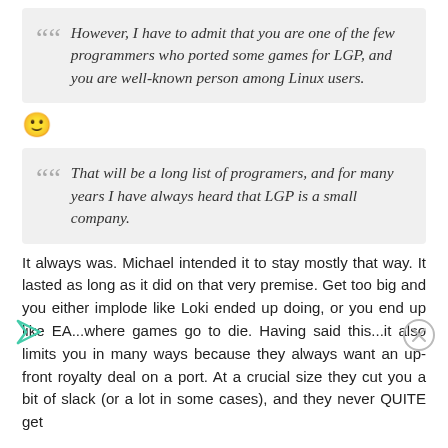However, I have to admit that you are one of the few programmers who ported some games for LGP, and you are well-known person among Linux users.
[Figure (other): Smiling face emoji]
That will be a long list of programers, and for many years I have always heard that LGP is a small company.
It always was. Michael intended it to stay mostly that way. It lasted as long as it did on that very premise. Get too big and you either implode like Loki ended up doing, or you end up like EA...where games go to die. Having said this...it also limits you in many ways because they always want an up-front royalty deal on a port. At a crucial size they cut you a bit of slack (or a lot in some cases), and they never QUITE get